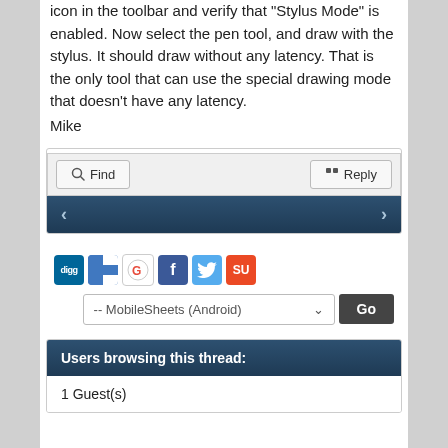icon in the toolbar and verify that "Stylus Mode" is enabled. Now select the pen tool, and draw with the stylus. It should draw without any latency. That is the only tool that can use the special drawing mode that doesn't have any latency.
Mike
[Figure (screenshot): Forum action bar with Find and Reply buttons, and navigation arrows on a dark blue bar]
[Figure (screenshot): Social sharing icons (Digg, Delicious, Google, Facebook, Twitter, StumbleUpon) and a dropdown selector for MobileSheets (Android) with a Go button]
Users browsing this thread:
1 Guest(s)